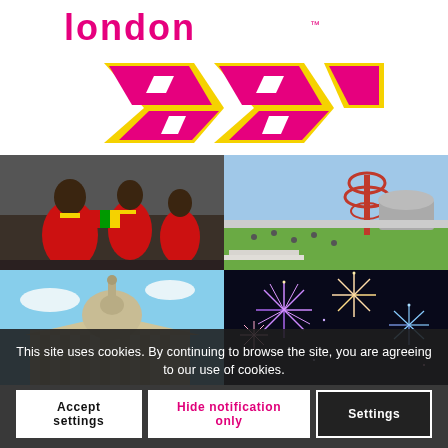[Figure (logo): London 2012 Olympics logo in magenta, yellow and white with 'london' text and trademark symbol]
[Figure (photo): African women in red traditional dress dancing at a street event]
[Figure (photo): London 2012 Olympic park with the ArcelorMittal Orbit tower and stadium, people relaxing on grass]
[Figure (photo): Dome of a classical building (National Gallery / St Paul's area) against blue sky]
[Figure (photo): Colorful fireworks display against dark night sky]
This site uses cookies. By continuing to browse the site, you are agreeing to our use of cookies.